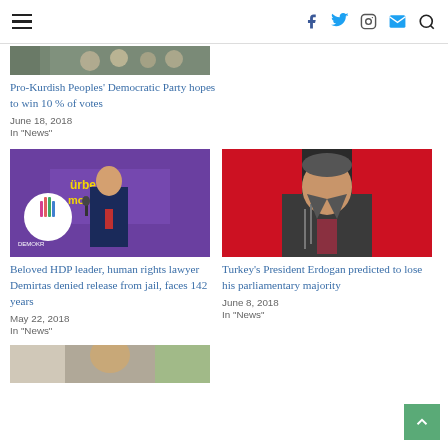Navigation bar with hamburger menu and social icons (Facebook, Twitter, Instagram, Email, Search)
[Figure (photo): Partial/cropped photo of a crowd of people at top of left column]
Pro-Kurdish Peoples' Democratic Party hopes to win 10 % of votes
June 18, 2018
In "News"
[Figure (photo): Photo of HDP leader Demirtas speaking at a rally with a blue suit and microphone in front of a purple banner]
Beloved HDP leader, human rights lawyer Demirtas denied release from jail, faces 142 years
May 22, 2018
In "News"
[Figure (photo): Photo of Turkey's President Erdogan standing in front of red Turkish flags]
Turkey's President Erdogan predicted to lose his parliamentary majority
June 8, 2018
In "News"
[Figure (photo): Partial/cropped photo at bottom of page, partially visible]